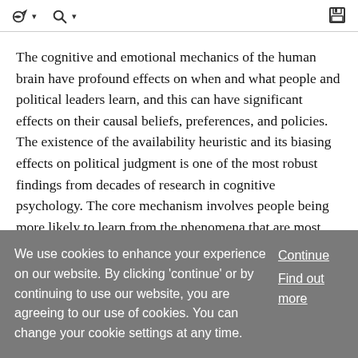toolbar with navigation icons
The cognitive and emotional mechanics of the human brain have profound effects on when and what people and political leaders learn, and this can have significant effects on their causal beliefs, preferences, and policies. The existence of the availability heuristic and its biasing effects on political judgment is one of the most robust findings from decades of research in cognitive psychology. The core mechanism involves people being more likely to learn from the phenomena that are most easily recalled by memory, which tend to be dramatic and vivid events,... ... Show More
We use cookies to enhance your experience on our website. By clicking 'continue' or by continuing to use our website, you are agreeing to our use of cookies. You can change your cookie settings at any time. Continue Find out more